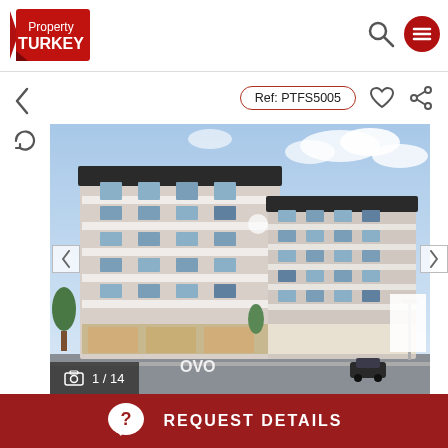[Figure (logo): Property Turkey logo — red ribbon/banner with white text]
Ref: PTFS5005
[Figure (photo): Exterior rendering of a modern multi-storey residential apartment building with white and dark facade, balconies, ground floor commercial units, trees and street view. Image counter shows 1/14.]
REQUEST DETAILS